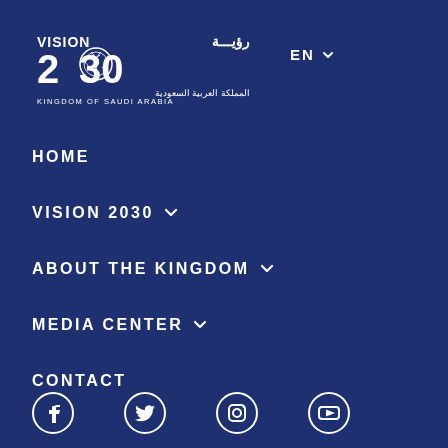[Figure (logo): Saudi Vision 2030 logo with Arabic text and Kingdom of Saudi Arabia text]
EN ▾
HOME
VISION 2030 ▾
ABOUT THE KINGDOM ▾
MEDIA CENTER ▾
CONTACT
[Figure (infographic): Social media icons: Facebook, Twitter, Instagram, YouTube]